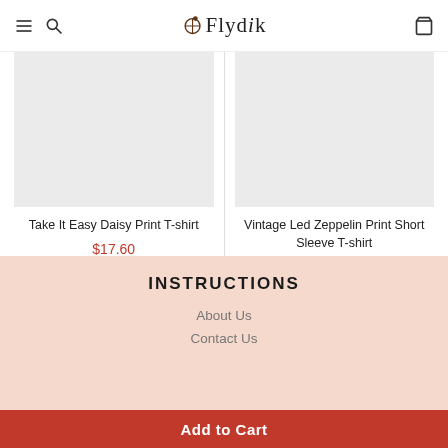Flydik
[Figure (photo): Product image placeholder (gray rectangle) for Take It Easy Daisy Print T-shirt]
Take It Easy Daisy Print T-shirt
$17.60
[Figure (photo): Product image placeholder (gray rectangle) for Vintage Led Zeppelin Print Short Sleeve T-shirt]
Vintage Led Zeppelin Print Short Sleeve T-shirt
$18.90
INSTRUCTIONS
About Us
Contact Us
Add to Cart